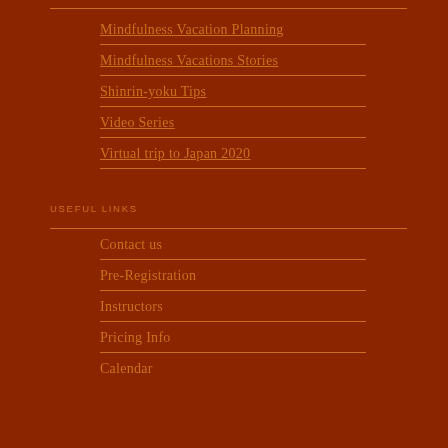Mindfulness Vacation Planning
Mindfulness Vacations Stories
Shinrin-yoku Tips
Video Series
Virtual trip to Japan 2020
USEFUL LINKS
Contact us
Pre-Registration
Instructors
Pricing Info
Calendar